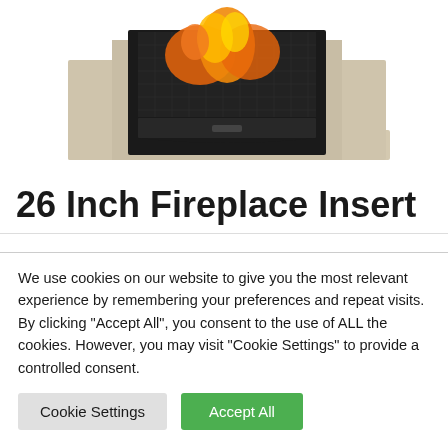[Figure (photo): A gas fireplace insert with a cream/beige mantel surround. The insert shows flames burning inside a black mesh-fronted firebox. The mantel has a classic style with side columns and a base platform.]
26 Inch Fireplace Insert
We use cookies on our website to give you the most relevant experience by remembering your preferences and repeat visits. By clicking “Accept All”, you consent to the use of ALL the cookies. However, you may visit "Cookie Settings" to provide a controlled consent.